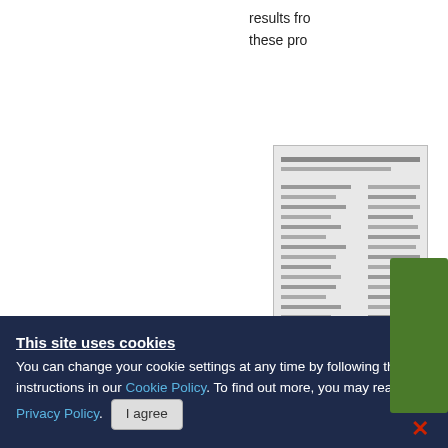results fro these pro
[Figure (screenshot): Screenshot of a document or table interface, partially visible on the right side of the page, with horizontal lines representing text content and a dark bar at the bottom.]
[Figure (other): Green 'Need help?' vertical tab on the right side, with a red X close button below it.]
Calc norm results in confirmed the hyper
This site uses cookies
You can change your cookie settings at any time by following the instructions in our Cookie Policy. To find out more, you may read our Privacy Policy. I agree